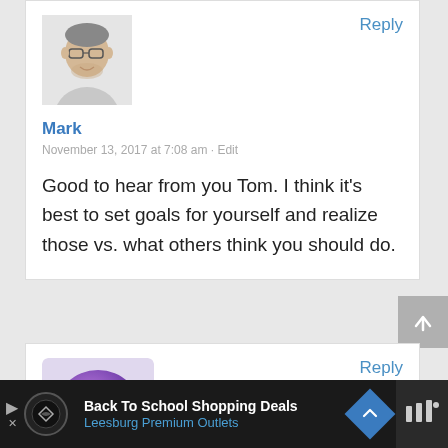[Figure (photo): Profile avatar photo of a man with glasses wearing a light-colored shirt]
Reply
Mark
November 13, 2017 at 7:08 am · Edit
Good to hear from you Tom. I think it's best to set goals for yourself and realize those vs. what others think you should do.
[Figure (illustration): Purple emoji/emoticon face with neutral expression, round avatar]
Reply
Back To School Shopping Deals Leesburg Premium Outlets